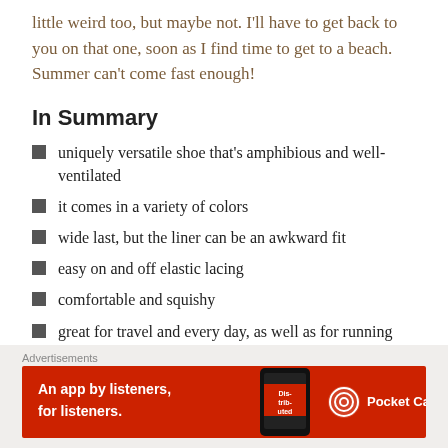little weird too, but maybe not. I'll have to get back to you on that one, soon as I find time to get to a beach. Summer can't come fast enough!
In Summary
uniquely versatile shoe that's amphibious and well-ventilated
it comes in a variety of colors
wide last, but the liner can be an awkward fit
easy on and off elastic lacing
comfortable and squishy
great for travel and every day, as well as for running
good shoe for roads and wet areas
nice price point
Advertisements
[Figure (illustration): Pocket Casts advertisement banner: red background with text 'An app by listeners, for listeners.' and Pocket Casts logo with phone image]